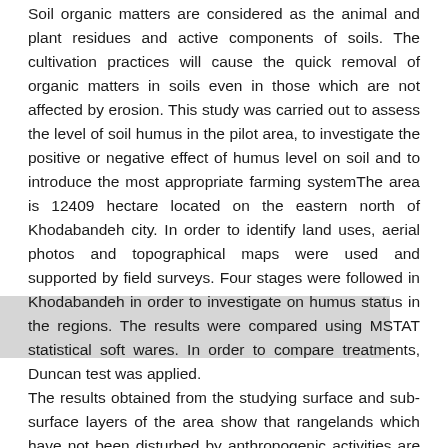Soil organic matters are considered as the animal and plant residues and active components of soils. The cultivation practices will cause the quick removal of organic matters in soils even in those which are not affected by erosion. This study was carried out to assess the level of soil humus in the pilot area, to investigate the positive or negative effect of humus level on soil and to introduce the most appropriate farming systemThe area is 12409 hectare located on the eastern north of Khodabandeh city. In order to identify land uses, aerial photos and topographical maps were used and supported by field surveys. Four stages were followed in Khodabandeh in order to investigate on humus status in the regions. The results were compared using MSTAT statistical soft wares. In order to compare treatments, Duncan test was applied. The results obtained from the studying surface and sub-surface layers of the area show that rangelands which have not been disturbed by anthropogenic activities are classified between irrigated and drylands. It can be said that the irrigated farming, especially alfalfa farming, enhances soil humus content due to nitrogen fixation done in the roots. But, the drylands especially those with